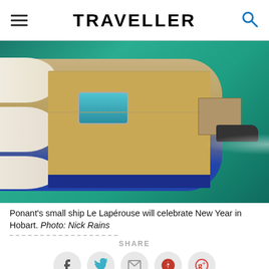TRAVELLER
[Figure (photo): Aerial view of Ponant's small ship Le Lapérouse on turquoise water, showing the deck with pool, sails, gangway, and a small speedboat nearby creating a wake.]
Ponant's small ship Le Lapérouse will celebrate New Year in Hobart. Photo: Nick Rains
SHARE